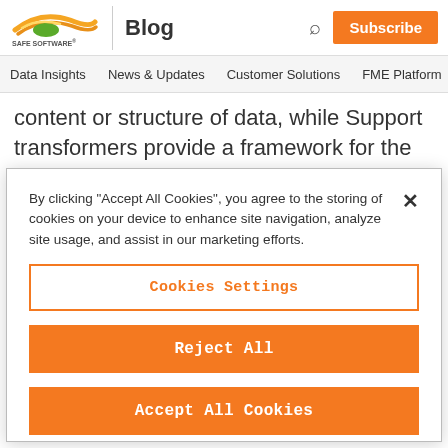SAFE SOFTWARE Blog | Subscribe
Data Insights | News & Updates | Customer Solutions | FME Platform
content or structure of data, while Support transformers provide a framework for the operation to
By clicking “Accept All Cookies”, you agree to the storing of cookies on your device to enhance site navigation, analyze site usage, and assist in our marketing efforts.
Cookies Settings
Reject All
Accept All Cookies